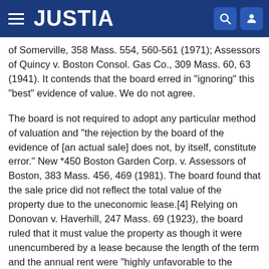JUSTIA
of Somerville, 358 Mass. 554, 560-561 (1971); Assessors of Quincy v. Boston Consol. Gas Co., 309 Mass. 60, 63 (1941). It contends that the board erred in "ignoring" this "best" evidence of value. We do not agree.
The board is not required to adopt any particular method of valuation and "the rejection by the board of the evidence of [an actual sale] does not, by itself, constitute error." New *450 Boston Garden Corp. v. Assessors of Boston, 383 Mass. 456, 469 (1981). The board found that the sale price did not reflect the total value of the property due to the uneconomic lease.[4] Relying on Donovan v. Haverhill, 247 Mass. 69 (1923), the board ruled that it must value the property as though it were unencumbered by a lease because the length of the term and the annual rent were "highly unfavorable to the lessor." In Donovan, we said that "a deduction of